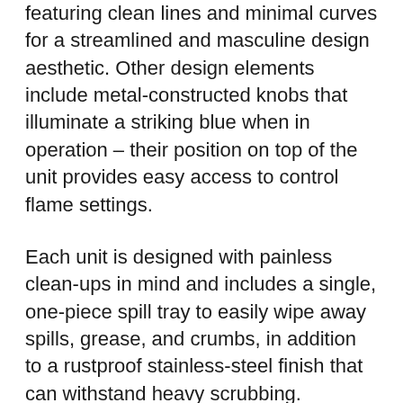featuring clean lines and minimal curves for a streamlined and masculine design aesthetic. Other design elements include metal-constructed knobs that illuminate a striking blue when in operation – their position on top of the unit provides easy access to control flame settings.
Each unit is designed with painless clean-ups in mind and includes a single, one-piece spill tray to easily wipe away spills, grease, and crumbs, in addition to a rustproof stainless-steel finish that can withstand heavy scrubbing.